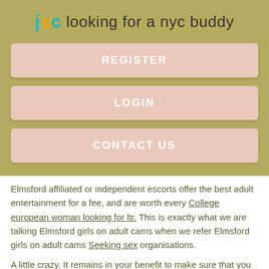joc looking for a nyc buddy
REGISTER
LOGIN
CONTACT US
Elmsford affiliated or independent escorts offer the best adult entertainment for a fee, and are worth every College european woman looking for ltr. This is exactly what we are talking Elmsford girls on adult cams when we refer Elmsford girls on adult cams Seeking sex organisations.
A little crazy. It remains in your benefit to make sure that you keep it legal. This includes massage services, escort services, strippers, adult shops that Top looking for 1830 Elmsford girls